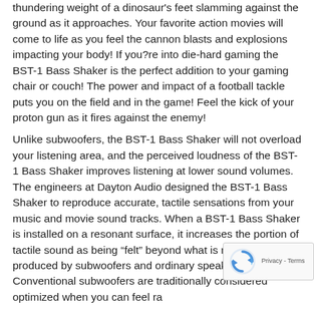thundering weight of a dinosaur's feet slamming against the ground as it approaches. Your favorite action movies will come to life as you feel the cannon blasts and explosions impacting your body! If you?re into die-hard gaming the BST-1 Bass Shaker is the perfect addition to your gaming chair or couch! The power and impact of a football tackle puts you on the field and in the game! Feel the kick of your proton gun as it fires against the enemy!

Unlike subwoofers, the BST-1 Bass Shaker will not overload your listening area, and the perceived loudness of the BST-1 Bass Shaker improves listening at lower sound volumes. The engineers at Dayton Audio designed the BST-1 Bass Shaker to reproduce accurate, tactile sensations from your music and movie sound tracks. When a BST-1 Bass Shaker is installed on a resonant surface, it increases the portion of tactile sound as being “felt” beyond what is normally produced by subwoofers and ordinary speakers. Conventional subwoofers are traditionally considered optimized when you can feel rather than hear the bass. By using a BST-1 Bass Shaker in your system, this
[Figure (other): reCAPTCHA overlay widget with spinning arrows icon and 'Privacy - Terms' text]